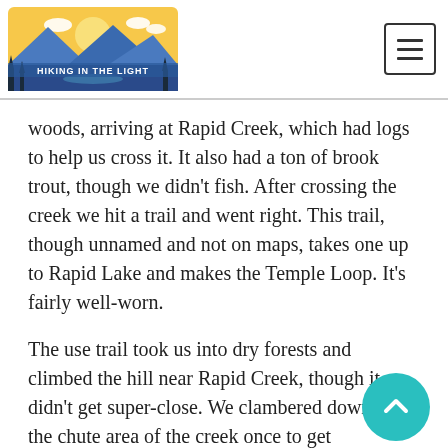HIKING IN THE LIGHT
woods, arriving at Rapid Creek, which had logs to help us cross it. It also had a ton of brook trout, though we didn't fish. After crossing the creek we hit a trail and went right. This trail, though unnamed and not on maps, takes one up to Rapid Lake and makes the Temple Loop. It's fairly well-worn.
The use trail took us into dry forests and climbed the hill near Rapid Creek, though it didn't get super-close. We clambered down into the chute area of the creek once to get